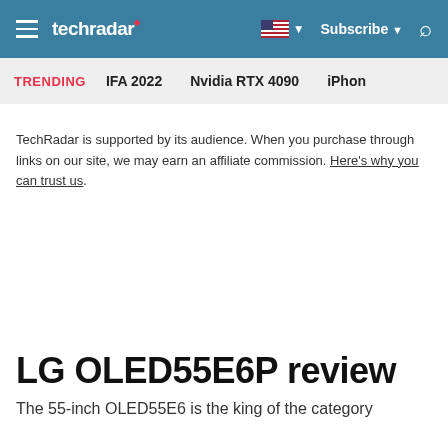techradar | Subscribe | Search
TRENDING   IFA 2022   Nvidia RTX 4090   iPhon
TechRadar is supported by its audience. When you purchase through links on our site, we may earn an affiliate commission. Here's why you can trust us.
LG OLED55E6P review
The 55-inch OLED55E6 is the king of the category